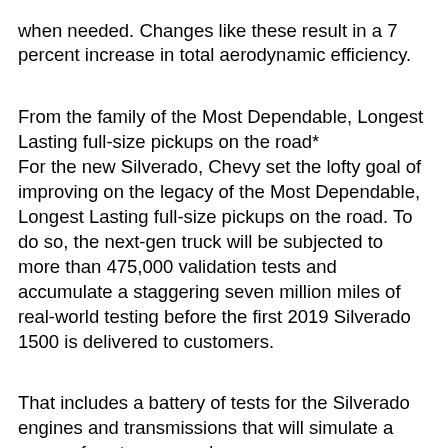when needed. Changes like these result in a 7 percent increase in total aerodynamic efficiency.
From the family of the Most Dependable, Longest Lasting full-size pickups on the road*
For the new Silverado, Chevy set the lofty goal of improving on the legacy of the Most Dependable, Longest Lasting full-size pickups on the road. To do so, the next-gen truck will be subjected to more than 475,000 validation tests and accumulate a staggering seven million miles of real-world testing before the first 2019 Silverado 1500 is delivered to customers.
That includes a battery of tests for the Silverado engines and transmissions that will simulate a range of customer needs:
Each type of engine was first subjected to a “torture test” in a dynamometer test cell, running for months nonstop to simulate a lifetime of maximum hot and cold cycles.
Each Silverado variant is certified to the SAE J2807 standard for towing and payload capacity. Certification requires a full battery of grueling tests such as the Davis Dam test, in which the truck must carry its maximum gross